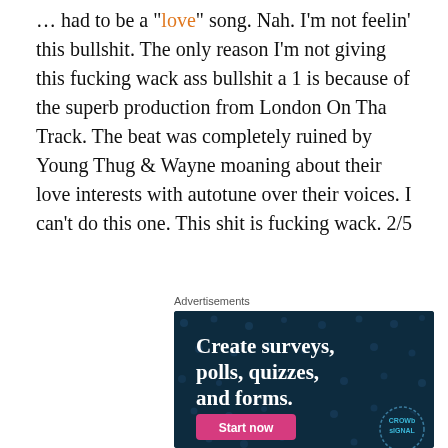… had to be a "love" song. Nah. I'm not feelin' this bullshit. The only reason I'm not giving this fucking wack ass bullshit a 1 is because of the superb production from London On Tha Track. The beat was completely ruined by Young Thug & Wayne moaning about their love interests with autotune over their voices. I can't do this one. This shit is fucking wack. 2/5
Advertisements
[Figure (other): Advertisement banner for Crowdsignal: 'Create surveys, polls, quizzes, and forms.' with a pink 'Start now' button and Crowdsignal logo on a dark navy background with dot pattern.]